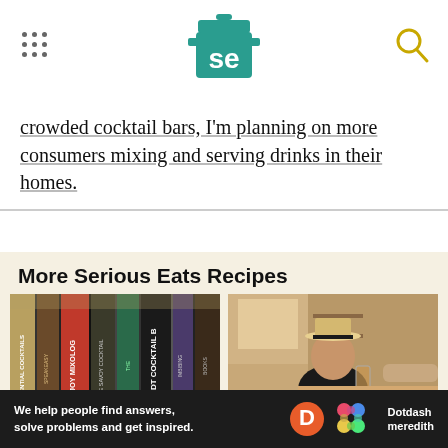Serious Eats header with logo and navigation
crowded cocktail bars, I'm planning on more consumers mixing and serving drinks in their homes.
More Serious Eats Recipes
[Figure (photo): Photo of cocktail books on a shelf including 'The Joy of Mixology', 'The Savoy Cocktail', 'The PDT Cocktail Book', and other bartending books]
BOOKS
These Are 14 of Our
[Figure (photo): Photo of a man wearing a straw hat sitting at a table with a drink being served]
FOOD INDUSTRY
What Are You Drinking,
We help people find answers, solve problems and get inspired. Dotdash meredith